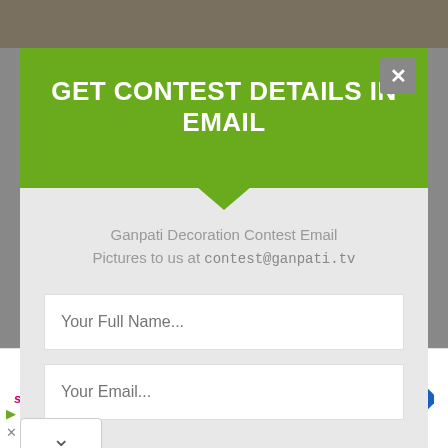GET CONTEST DETAILS IN EMAIL
Ganpati Decoration Contest Email Pictures to us at contest@ganpati.tv
Your Full Name...
Your Email...
[Figure (screenshot): Web modal popup for email contest signup with green header, form fields, and bottom bar with dine-in/takeout/delivery options and sweetFrog logo]
Dine-in
Takeout
Delivery